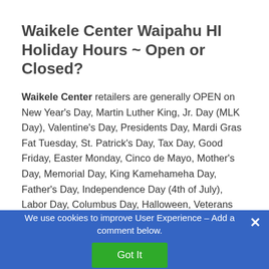Waikele Center Waipahu HI Holiday Hours ~ Open or Closed?
Waikele Center retailers are generally OPEN on New Year's Day, Martin Luther King, Jr. Day (MLK Day), Valentine's Day, Presidents Day, Mardi Gras Fat Tuesday, St. Patrick's Day, Tax Day, Good Friday, Easter Monday, Cinco de Mayo, Mother's Day, Memorial Day, King Kamehameha Day, Father's Day, Independence Day (4th of July), Labor Day, Columbus Day, Halloween, Veterans Day, Black Friday, Christmas Eve, and New Year's Eve.
We use cookies to improve User Experience – Add a comment below.
Got It